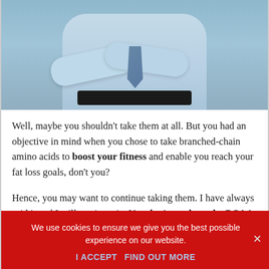[Figure (photo): A man in a light blue shirt with arms crossed, wearing a striped tie and dark belt, photographed from the torso down against a light blue/grey background.]
Well, maybe you shouldn't take them at all. But you had an objective in mind when you chose to take branched-chain amino acids to boost your fitness and enable you reach your fat loss goals, don't you?
Hence, you may want to continue taking them. I have always said it and I will say it again. You don't need to take BCAA supplements at all,
We use cookies to ensure we give you the best possible experience on our website.
I ACCEPT   FIND OUT MORE